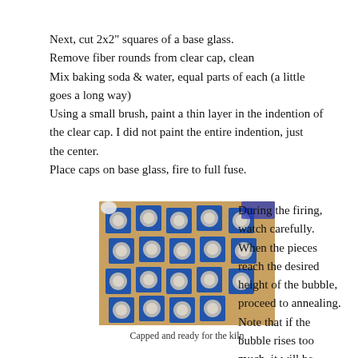Next, cut 2x2" squares of a base glass.
Remove fiber rounds from clear cap, clean
Mix baking soda & water, equal parts of each (a little goes a long way)
Using a small brush, paint a thin layer in the indention of the clear cap. I did not paint the entire indention, just the center.
Place caps on base glass, fire to full fuse.
[Figure (photo): Multiple blue glass squares with white/silver fiber cap designs arranged on a wooden table, ready for the kiln.]
Capped and ready for the kiln
During the firing, watch carefully. When the pieces reach the desired height of the bubble, proceed to annealing. Note that if the bubble rises too much, it will be